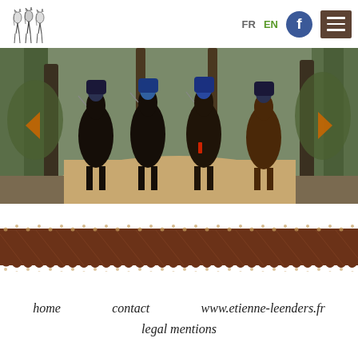[Figure (logo): Three horses illustration logo sketch in black and white]
FR  EN
[Figure (illustration): Facebook circular blue button with letter f]
[Figure (illustration): Brown menu hamburger button with three white lines]
[Figure (photo): Group of riders on dark horses trotting towards camera on a sandy forest trail surrounded by pine trees]
[Figure (illustration): Decorative brown band with scalloped/dotted wavy pattern top and bottom, brown fur or wave texture]
home   contact   www.etienne-leenders.fr   legal mentions